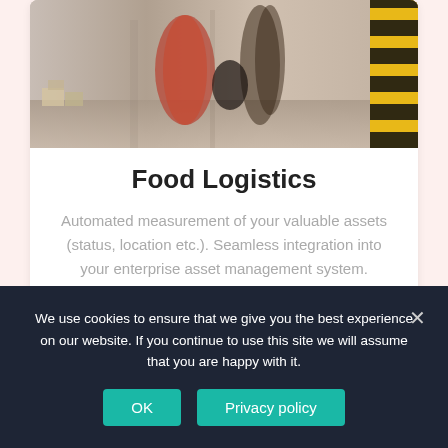[Figure (photo): Blurred motion photo of workers/people in a warehouse or logistics facility, with yellow and black striped safety barrier visible on the right.]
Food Logistics
Automated measurement of your valuable assets (status, location etc.). Seamless integration into your enterprise asset management system.
We use cookies to ensure that we give you the best experience on our website. If you continue to use this site we will assume that you are happy with it.